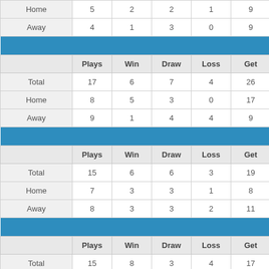|  | Plays | Win | Draw | Loss | Get | M |
| --- | --- | --- | --- | --- | --- | --- |
| Home | 5 | 2 | 2 | 1 | 9 |  |
| Away | 4 | 1 | 3 | 0 | 9 |  |
| 2 |  |  |  |  |  |  |
|  | Plays | Win | Draw | Loss | Get | M |
| Total | 17 | 6 | 7 | 4 | 26 |  |
| Home | 8 | 5 | 3 | 0 | 17 |  |
| Away | 9 | 1 | 4 | 4 | 9 |  |
| 2 |  |  |  |  |  |  |
|  | Plays | Win | Draw | Loss | Get | M |
| Total | 15 | 6 | 6 | 3 | 19 |  |
| Home | 7 | 3 | 3 | 1 | 8 |  |
| Away | 8 | 3 | 3 | 2 | 11 |  |
| 2 |  |  |  |  |  |  |
|  | Plays | Win | Draw | Loss | Get | M |
| Total | 15 | 8 | 3 | 4 | 17 |  |
| Home | 8 | 7 | 1 | 0 | 15 |  |
| Away | 7 | 1 | 2 | 4 | 2 |  |
| 2 |  |  |  |  |  |  |